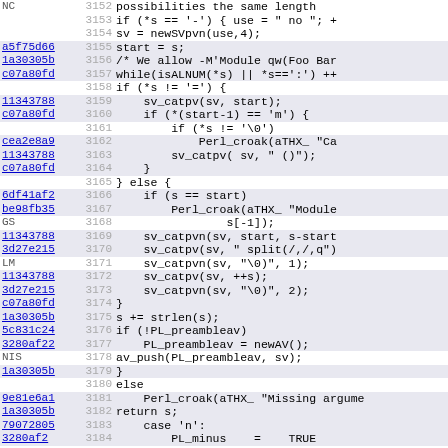[Figure (screenshot): Source code view showing lines 3152–3184 of a C/Perl source file, with line numbers, commit hash annotations (blue hyperlinks), and syntax-highlighted code in a monospace font on a white/light background.]